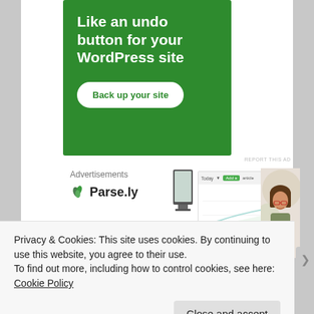[Figure (illustration): Green advertisement banner for a WordPress backup service. White bold text reads 'Like an undo button for your WordPress site' with a white rounded button labeled 'Back up your site'.]
REPORT THIS AD
Advertisements
[Figure (logo): Parse.ly logo with green leaf/hop icon and bold text 'Parse.ly']
[Figure (screenshot): Partial screenshot of Parse.ly analytics dashboard interface with a line chart, and a photo of a woman with brown hair smiling.]
Privacy & Cookies: This site uses cookies. By continuing to use this website, you agree to their use.
To find out more, including how to control cookies, see here: Cookie Policy
Close and accept